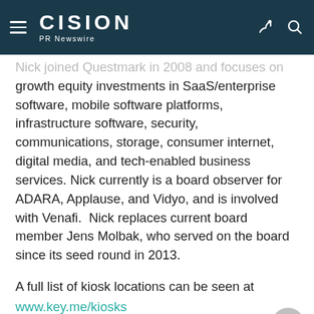CISION PR Newswire
Nick joined Questmark in 2008 and focuses on growth equity investments in SaaS/enterprise software, mobile software platforms, infrastructure software, security, communications, storage, consumer internet, digital media, and tech-enabled business services. Nick currently is a board observer for ADARA, Applause, and Vidyo, and is involved with Venafi.  Nick replaces current board member Jens Molbak, who served on the board since its seed round in 2013.
A full list of kiosk locations can be seen at www.key.me/kiosks